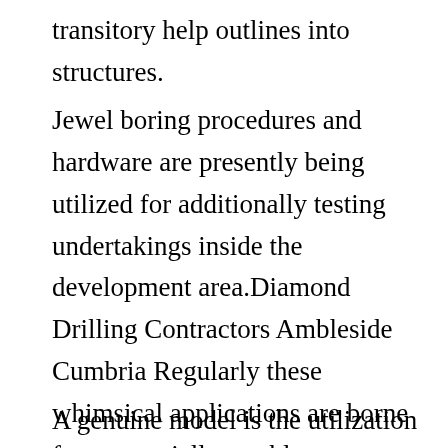transitory help outlines into structures.
Jewel boring procedures and hardware are presently being utilized for additionally testing undertakings inside the development area.Diamond Drilling Contractors Ambleside Cumbria Regularly these whimsical applications are borne from especially troublesome occupations where no elective gear or strategy is accessible.
A genuine model is the utilization of